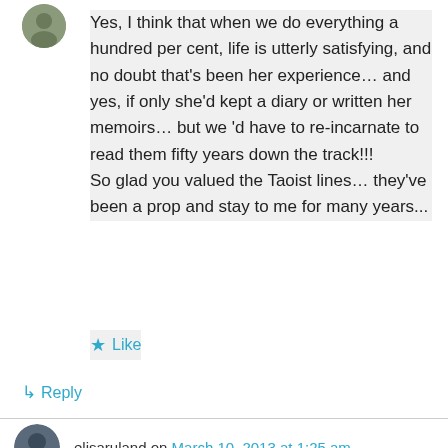[Figure (photo): Small circular avatar photo of a person, positioned top-left of comment block]
Yes, I think that when we do everything a hundred per cent, life is utterly satisfying, and no doubt that's been her experience… and yes, if only she'd kept a diary or written her memoirs… but we 'd have to re-incarnate to read them fifty years down the track!!!
So glad you valued the Taoist lines… they've been a prop and stay to me for many years...
★ Like
↳ Reply
elisaruland on March 10, 2013 at 1:25 am